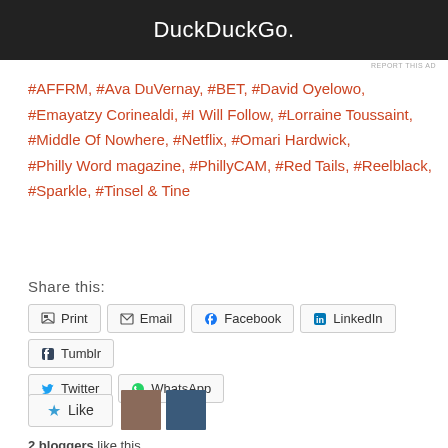[Figure (other): DuckDuckGo advertisement banner with orange section on left and dark background]
REPORT THIS AD
#AFFRM, #Ava DuVernay, #BET, #David Oyelowo, #Emayatzy Corinealdi, #I Will Follow, #Lorraine Toussaint, #Middle Of Nowhere, #Netflix, #Omari Hardwick, #Philly Word magazine, #PhillyCAM, #Red Tails, #Reelblack, #Sparkle, #Tinsel & Tine
Share this:
Print  Email  Facebook  LinkedIn  Tumblr  Twitter  WhatsApp
Like  2 bloggers like this.